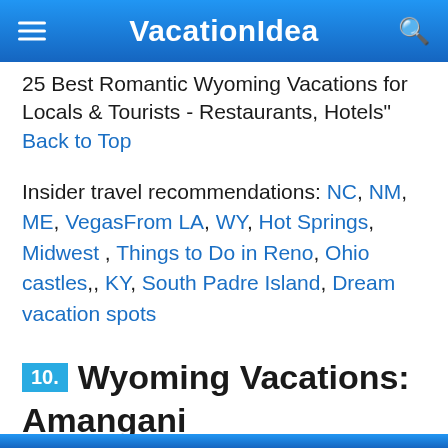VacationIdea
25 Best Romantic Wyoming Vacations for Locals & Tourists - Restaurants, Hotels" Back to Top
Insider travel recommendations: NC, NM, ME, VegasFrom LA, WY, Hot Springs, Midwest , Things to Do in Reno, Ohio castles,, KY, South Padre Island, Dream vacation spots
10. Wyoming Vacations: Amangani